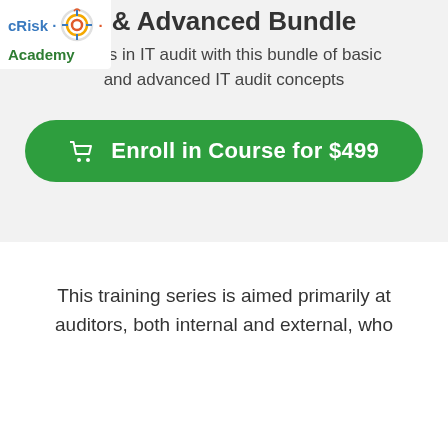[Figure (logo): cRisk Academy logo with colorful ring/target icon]
& Advanced Bundle
ir skills in IT audit with this bundle of basic and advanced IT audit concepts
Enroll in Course for $499
This training series is aimed primarily at auditors, both internal and external, who